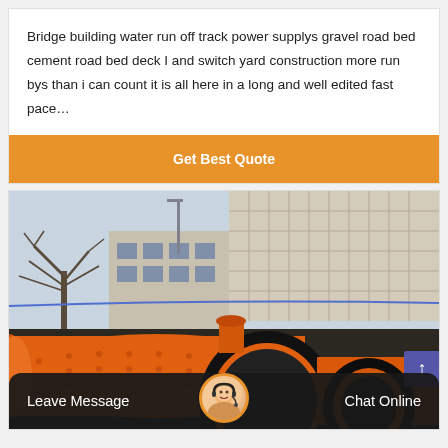Bridge building water run off track power supplys gravel road bed cement road bed deck I and switch yard construction more run bys than i can count it is all here in a long and well edited fast pace…
[Figure (other): Orange industrial ball mill machine with large gear rings, photographed outdoors in front of a building with trees in background]